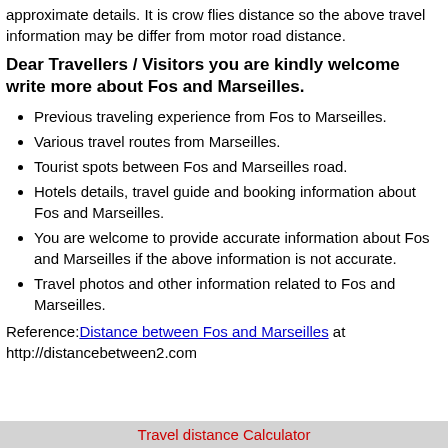approximate details. It is crow flies distance so the above travel information may be differ from motor road distance.
Dear Travellers / Visitors you are kindly welcome write more about Fos and Marseilles.
Previous traveling experience from Fos to Marseilles.
Various travel routes from Marseilles.
Tourist spots between Fos and Marseilles road.
Hotels details, travel guide and booking information about Fos and Marseilles.
You are welcome to provide accurate information about Fos and Marseilles if the above information is not accurate.
Travel photos and other information related to Fos and Marseilles.
Reference: Distance between Fos and Marseilles at http://distancebetween2.com
Travel distance Calculator